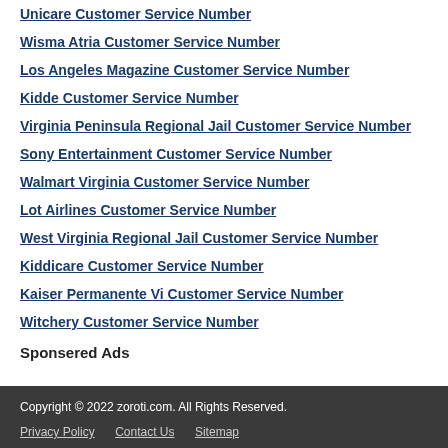Unicare Customer Service Number
Wisma Atria Customer Service Number
Los Angeles Magazine Customer Service Number
Kidde Customer Service Number
Virginia Peninsula Regional Jail Customer Service Number
Sony Entertainment Customer Service Number
Walmart Virginia Customer Service Number
Lot Airlines Customer Service Number
West Virginia Regional Jail Customer Service Number
Kiddicare Customer Service Number
Kaiser Permanente Vi Customer Service Number
Witchery Customer Service Number
Sponsered Ads
Copyright © 2022 zoroti.com. All Rights Reserved.
Privacy Policy   Contact Us   Sitemap